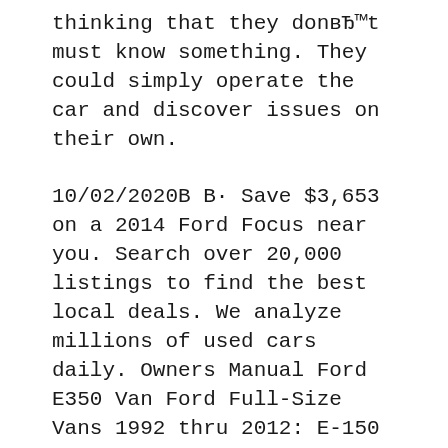thinking that they donвЂ™t must know something. They could simply operate the car and discover issues on their own.
10/02/2020В В· Save $3,653 on a 2014 Ford Focus near you. Search over 20,000 listings to find the best local deals. We analyze millions of used cars daily. Owners Manual Ford E350 Van Ford Full-Size Vans 1992 thru 2012: E-150 thru E-350 - Gasoline Engine Models (Haynes Repair Manual) (Max Haynes) on Amazon.com. *FREE* shipping. 1991 ford e350 owners manual вЂ¦
Haynes Owners Manual 2014 Ford E350